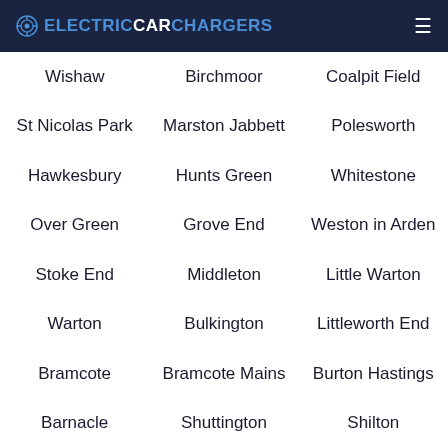ELECTRICCARCHARGERS
Wishaw
Birchmoor
Coalpit Field
St Nicolas Park
Marston Jabbett
Polesworth
Hawkesbury
Hunts Green
Whitestone
Over Green
Grove End
Weston in Arden
Stoke End
Middleton
Little Warton
Warton
Bulkington
Littleworth End
Bramcote
Bramcote Mains
Burton Hastings
Barnacle
Shuttington
Shilton